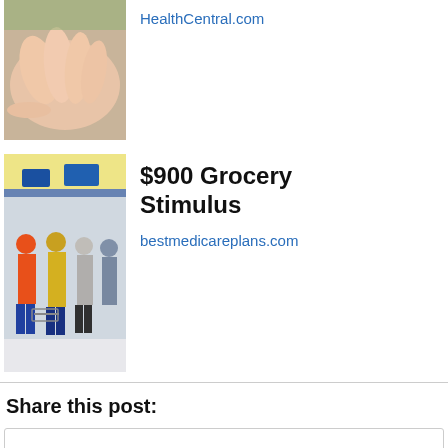[Figure (photo): Close-up photo of hands (skin care related)]
HealthCentral.com
[Figure (photo): Busy grocery store aisle with shoppers and carts]
$900 Grocery Stimulus
bestmedicareplans.com
Share this post:
Privacy & Cookies: This site uses cookies. By continuing to use this website, you agree to their use.
To find out more, including how to control cookies, see here: Cookie Policy
Close and accept